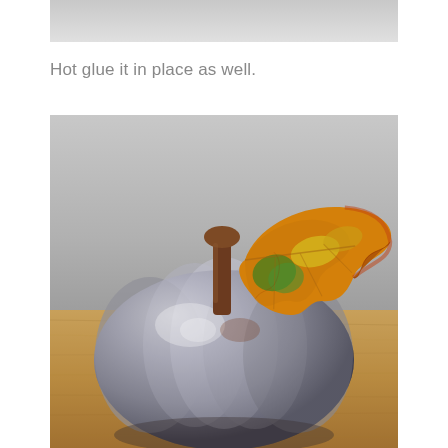[Figure (photo): Top portion of a previously shown image, cropped — gray/light background visible as a strip at the top of the page.]
Hot glue it in place as well.
[Figure (photo): A silver/metallic painted pumpkin with a brown wooden stem, decorated with a colorful artificial fall maple leaf (in shades of orange, yellow, green) placed at the top. The pumpkin sits on a wooden surface against a light gray background.]